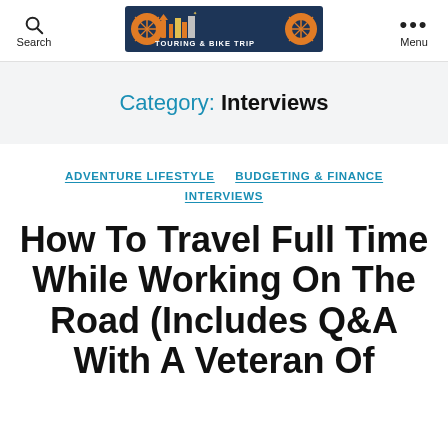Search | [TOURING & BIKE TRIP LOGO] | Menu
Category: Interviews
ADVENTURE LIFESTYLE  BUDGETING & FINANCE  INTERVIEWS
How To Travel Full Time While Working On The Road (Includes Q&A With A Veteran Of